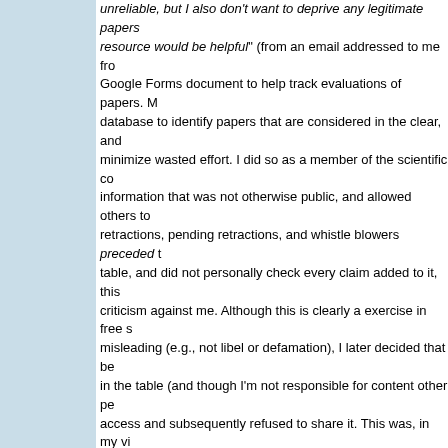unreliable, but I also don't want to deprive any legitimate papers resource would be helpful" (from an email addressed to me from Google Forms document to help track evaluations of papers. M database to identify papers that are considered in the clear, and minimize wasted effort. I did so as a member of the scientific co information that was not otherwise public, and allowed others to retractions, pending retractions, and whistle blowers preceded t table, and did not personally check every claim added to it, this criticism against me. Although this is clearly a exercise in free s misleading (e.g., not libel or defamation), I later decided that be in the table (and though I'm not responsible for content other pe access and subsequently refused to share it. This was, in my vi (and indeed for Pruitt himself) because most people seem to us even when the data were generated by colleagues or students greatly reduced by the retractions, even to unretracted work. Th been checked and found to have no flaws, especially those who encourage continued citations to their work. By removing the do though I see those threats as groundless), I fear I removed a cr others.
The retractions, blog posts, and online spreadsheet attracted at for interviews by reporters for Science and Nature. The publishe statements accurately, a complaint also raised by Niels Dingem
In the subsequent days I regularly received numerous emails...